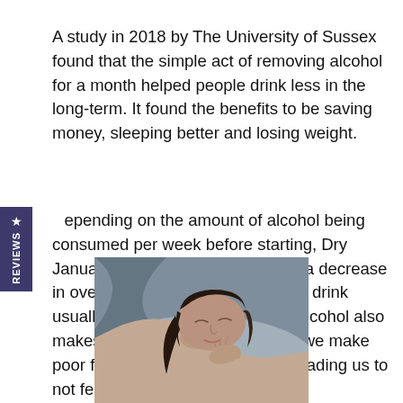A study in 2018 by The University of Sussex found that the simple act of removing alcohol for a month helped people drink less in the long-term. It found the benefits to be saving money, sleeping better and losing weight.
Depending on the amount of alcohol being consumed per week before starting, Dry January could significantly impact a decrease in overall calories since a standard drink usually has around 150 calories. Alcohol also makes us feel hungrier, and often we make poor food choices after drinking, leading us to not feeling so great.
[Figure (photo): A woman sleeping peacefully on a pillow with grey bedding, eyes closed and hand resting near her face]